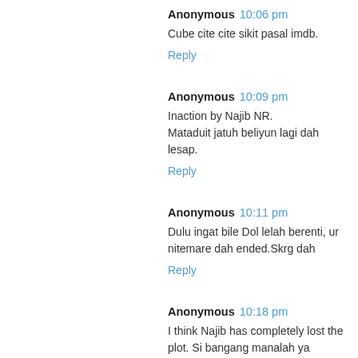Anonymous 10:06 pm
Cube cite cite sikit pasal imdb.
Reply
Anonymous 10:09 pm
Inaction by Najib NR.
Mataduit jatuh beliyun lagi dah lesap.
Reply
Anonymous 10:11 pm
Dulu ingat bile Dol lelah berenti, ur nitemare dah ended.Skrg dah
Reply
Anonymous 10:18 pm
I think Najib has completely lost the plot. Si bangang manalah ya discredit Tun?
Reply